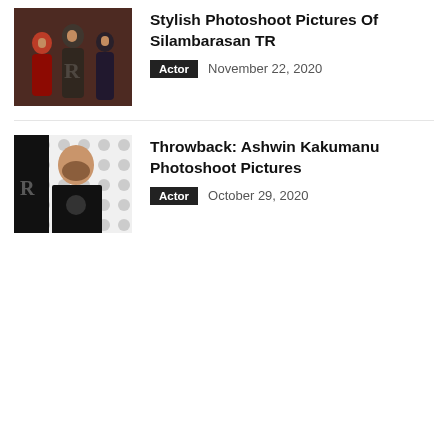[Figure (photo): Group photo of three people in dark outfits, likely actors at a photoshoot event]
Stylish Photoshoot Pictures Of Silambarasan TR
Actor   November 22, 2020
[Figure (photo): Portrait photo of a bearded man in a black t-shirt at a photoshoot with polka-dot background]
Throwback: Ashwin Kakumanu Photoshoot Pictures
Actor   October 29, 2020